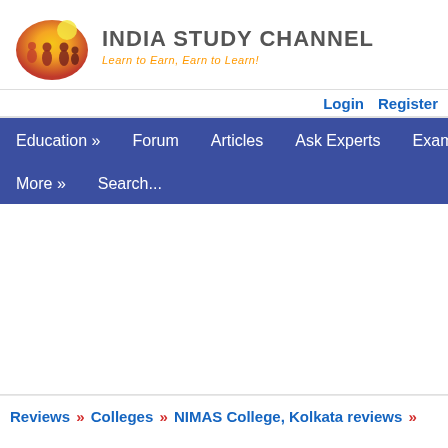[Figure (logo): India Study Channel logo with circular orange/red globe icon showing silhouettes of people, followed by bold text 'INDIA STUDY CHANNEL' and italic orange tagline 'Learn to Earn, Earn to Learn!']
Login   Register
Education »   Forum   Articles   Ask Experts   Exams »
More »   Search...
Reviews » Colleges » NIMAS College, Kolkata reviews »